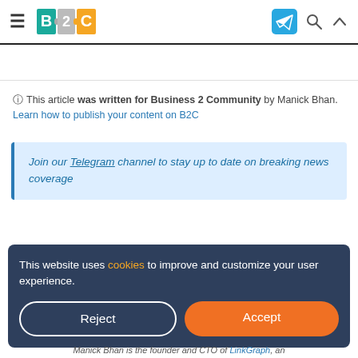B2C — Business 2 Community (navigation bar with hamburger menu, B2C logo, Telegram icon, search and scroll icons)
This article was written for Business 2 Community by Manick Bhan. Learn how to publish your content on B2C
Join our Telegram channel to stay up to date on breaking news coverage
This website uses cookies to improve and customize your user experience.
Reject | Accept
Manick Bhan is the founder and CTO of LinkGraph, an